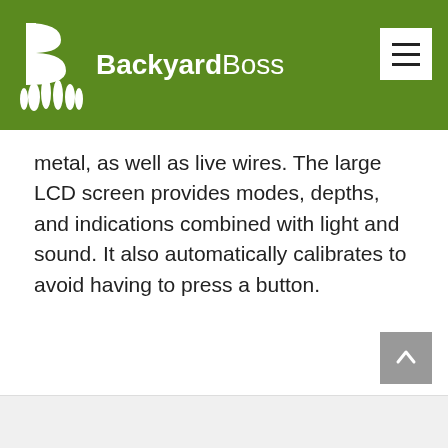BackyardBoss
metal, as well as live wires. The large LCD screen provides modes, depths, and indications combined with light and sound. It also automatically calibrates to avoid having to press a button.